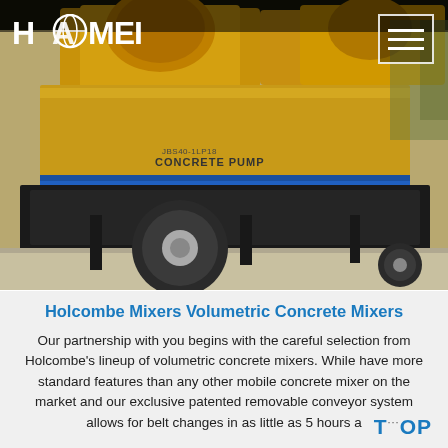[Figure (photo): Yellow concrete pump truck/mixer (Haomei branded) parked on a concrete surface, photographed from the side showing wheels, body, and pump mechanism. Header photo of a webpage.]
Holcombe Mixers Volumetric Concrete Mixers
Our partnership with you begins with the careful selection from Holcombe's lineup of volumetric concrete mixers. While have more standard features than any other mobile concrete mixer on the market and our exclusive patented removable conveyor system allows for belt changes in as little as 5 hours a